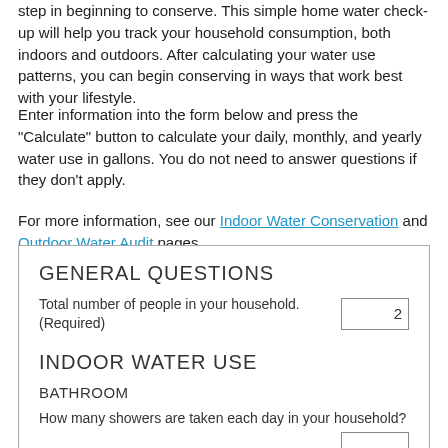step in beginning to conserve. This simple home water check-up will help you track your household consumption, both indoors and outdoors. After calculating your water use patterns, you can begin conserving in ways that work best with your lifestyle.
Enter information into the form below and press the "Calculate" button to calculate your daily, monthly, and yearly water use in gallons. You do not need to answer questions if they don't apply.
For more information, see our Indoor Water Conservation and Outdoor Water Audit pages.
GENERAL QUESTIONS
Total number of people in your household. (Required)  [2]
INDOOR WATER USE
BATHROOM
How many showers are taken each day in your household?